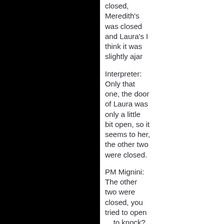closed, Meredith's was closed and Laura's I think it was slightly ajar
Interpreter: Only that one, the door of Laura was only a little bit open, so it seems to her, the other two were closed.
PM Mignini: The other two were closed, you tried to open ... to knock?
Knox: No
Interpreter: